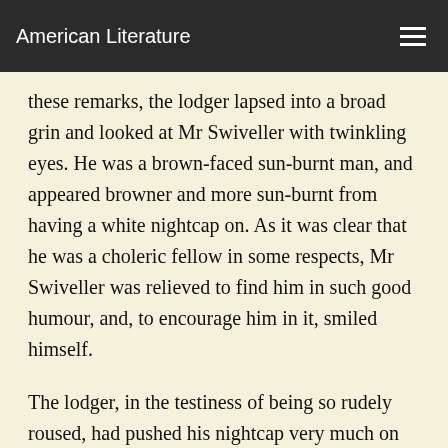American Literature
these remarks, the lodger lapsed into a broad grin and looked at Mr Swiveller with twinkling eyes. He was a brown-faced sun-burnt man, and appeared browner and more sun-burnt from having a white nightcap on. As it was clear that he was a choleric fellow in some respects, Mr Swiveller was relieved to find him in such good humour, and, to encourage him in it, smiled himself.
The lodger, in the testiness of being so rudely roused, had pushed his nightcap very much on one side of his bald head. This gave him a rakish eccentric air which, now that he had leisure to observe it, charmed Mr Swiveller exceedingly;